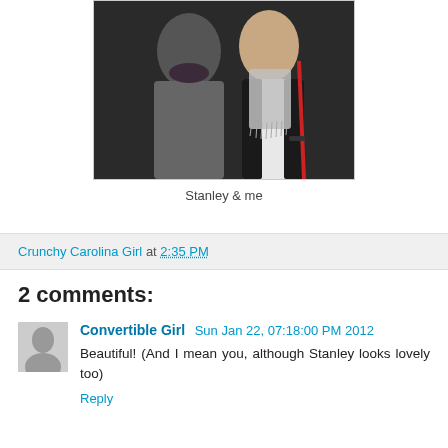[Figure (photo): Two people posing together for a photo. One person is wearing a grey sweater and dark scarf, the other is wearing a white top with a light grey fringed scarf and black jacket with a red strap.]
Stanley & me
Crunchy Carolina Girl at 2:35 PM
2 comments:
Convertible Girl  Sun Jan 22, 07:18:00 PM 2012
Beautiful! (And I mean you, although Stanley looks lovely too)
Reply